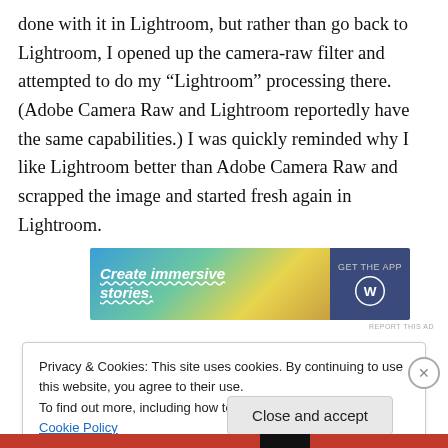done with it in Lightroom, but rather than go back to Lightroom, I opened up the camera-raw filter and attempted to do my “Lightroom” processing there. (Adobe Camera Raw and Lightroom reportedly have the same capabilities.) I was quickly reminded why I like Lightroom better than Adobe Camera Raw and scrapped the image and started fresh again in Lightroom.
[Figure (other): Advertisement banner: 'Create immersive stories. GET THE APP' with WordPress logo, gradient background from blue-green to yellow.]
Privacy & Cookies: This site uses cookies. By continuing to use this website, you agree to their use.
To find out more, including how to control cookies, see here: Cookie Policy
Close and accept